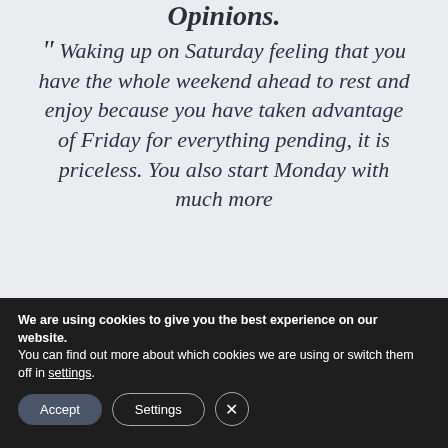Opinions.
" Waking up on Saturday feeling that you have the whole weekend ahead to rest and enjoy because you have taken advantage of Friday for everything pending, it is priceless. You also start Monday with much more
We are using cookies to give you the best experience on our website.
You can find out more about which cookies we are using or switch them off in settings.